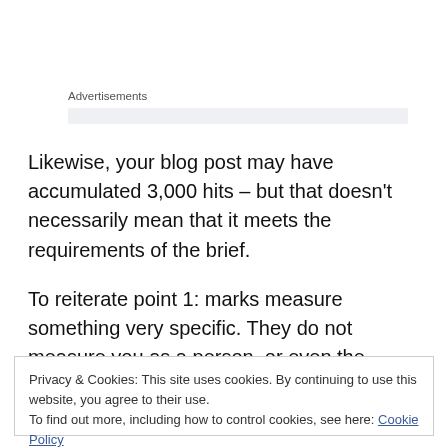Advertisements
Likewise, your blog post may have accumulated 3,000 hits – but that doesn't necessarily mean that it meets the requirements of the brief.
To reiterate point 1: marks measure something very specific. They do not measure you as a person, or even the project as a whole. That's not to undermine your achievements in
Privacy & Cookies: This site uses cookies. By continuing to use this website, you agree to their use.
To find out more, including how to control cookies, see here: Cookie Policy
Close and accept